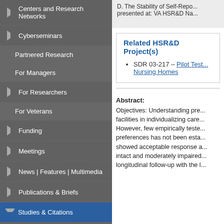Centers and Research Networks
Cyberseminars
Partnered Research
For Managers
For Researchers
For Veterans
Funding
Meetings
News | Features | Multimedia
Publications & Briefs
Studies & Citations
Funded Studies
Citations Database
Search All Citations
D. The Stability of Self-Repo... presented at: VA HSR&D Na...
Related HSR&D Project(s)
SDR 03-217 – Pilot Test... Nursing Homes
Abstract: Objectives: Understanding pre... facilities in individualizing care... However, few empirically teste... preferences has not been esta... showed acceptable response a... intact and moderately impaired... longitudinal follow-up with the l...